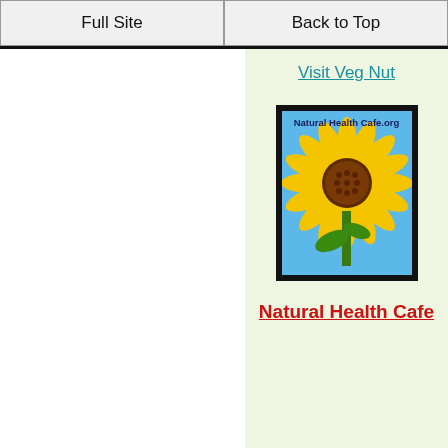Full Site | Back to Top
Visit Veg Nut
[Figure (photo): Sunflower image with text 'Natural Health Cafe.org' on a blue sky background, inside a black border frame]
Natural Health Cafe